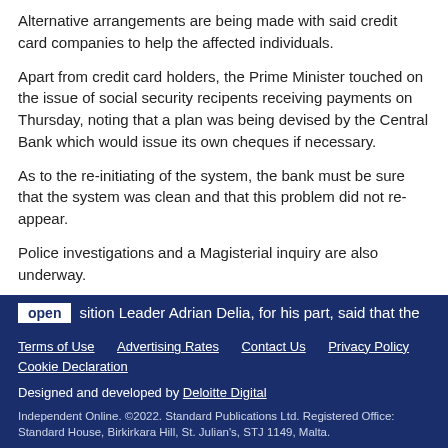Alternative arrangements are being made with said credit card companies to help the affected individuals.
Apart from credit card holders, the Prime Minister touched on the issue of social security recipents receiving payments on Thursday, noting that a plan was being devised by the Central Bank which would issue its own cheques if necessary.
As to the re-initiating of the system, the bank must be sure that the system was clean and that this problem did not re-appear.
Police investigations and a Magisterial inquiry are also underway.
open  sition Leader Adrian Delia, for his part, said that the
Terms of Use   Advertising Rates   Contact Us   Privacy Policy   Cookie Declaration

Designed and developed by Deloitte Digital

Independent Online. ©2022. Standard Publications Ltd. Registered Office: Standard House, Birkirkara Hill, St. Julian's, STJ 1149, Malta.